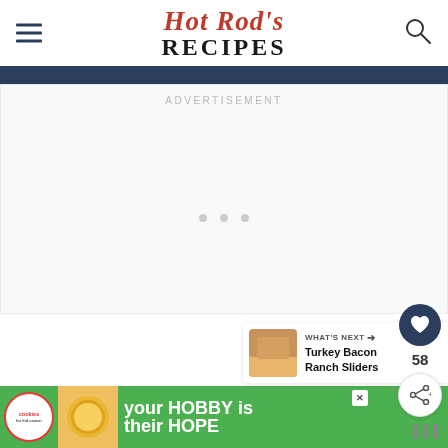Hot Rod's RECIPES
[Figure (screenshot): Partial photo strip at top of content area, dark blue/navy background]
ADVERTISEMENT
[Figure (screenshot): Loading dots (three small gray circles) indicating ad content loading]
[Figure (screenshot): Floating action buttons: heart/save icon with count 58, and share icon]
[Figure (screenshot): What's Next panel showing Turkey Bacon Ranch Sliders with thumbnail image]
[Figure (screenshot): Bottom advertisement banner for cookies for kid cancer charity: 'your HOBBY is their HOPE' with green background and cookie logo]